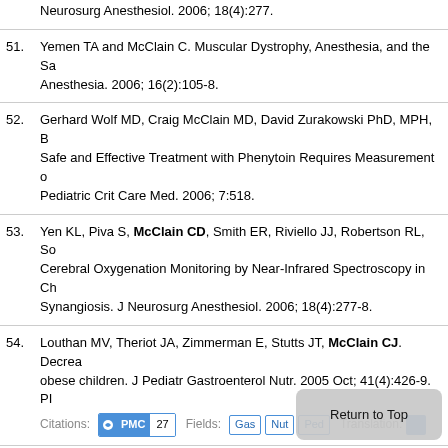Neurosurg Anesthesiol. 2006; 18(4):277.
51. Yemen TA and McClain C. Muscular Dystrophy, Anesthesia, and the Sa... Anesthesia. 2006; 16(2):105-8.
52. Gerhard Wolf MD, Craig McClain MD, David Zurakowski PhD, MPH, B... Safe and Effective Treatment with Phenytoin Requires Measurement o... Pediatric Crit Care Med. 2006; 7:518.
53. Yen KL, Piva S, McClain CD, Smith ER, Riviello JJ, Robertson RL, So... Cerebral Oxygenation Monitoring by Near-Infrared Spectroscopy in Ch... Synangiosis. J Neurosurg Anesthesiol. 2006; 18(4):277-8.
54. Louthan MV, Theriot JA, Zimmerman E, Stutts JT, McClain CJ. Decrea... obese children. J Pediatr Gastroenterol Nutr. 2005 Oct; 41(4):426-9. PI... Citations: PMC 27 Fields: Gas Nut Ped Translation:
55. McClain CD. Should the Results of Animal Stu... ical An... Newsletter. 2005; Summer.